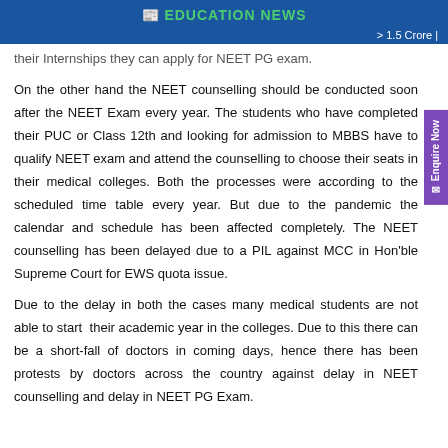EDUCATION NEWS
> 1.5 Crore |
their Internships they can apply for NEET PG exam.
On the other hand the NEET counselling should be conducted soon after the NEET Exam every year. The students who have completed their PUC or Class 12th and looking for admission to MBBS have to qualify NEET exam and attend the counselling to choose their seats in their medical colleges. Both the processes were according to the scheduled time table every year. But due to the pandemic the calendar and schedule has been affected completely. The NEET counselling has been delayed due to a PIL against MCC in Hon'ble Supreme Court for EWS quota issue.
Due to the delay in both the cases many medical students are not able to start their academic year in the colleges. Due to this there can be a short-fall of doctors in coming days, hence there has been protests by doctors across the country against delay in NEET counselling and delay in NEET PG Exam.
Delay in NEET counselling and NEET PG exams will affect the healthcare system